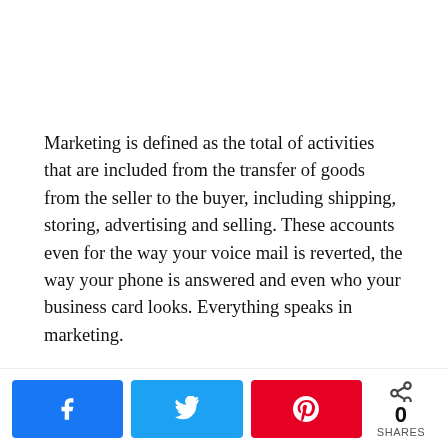Marketing is defined as the total of activities that are included from the transfer of goods from the seller to the buyer, including shipping, storing, advertising and selling. These accounts even for the way your voice mail is reverted, the way your phone is answered and even who your business card looks. Everything speaks in marketing.
Most people simply jumps into business without having a firm marketing strategy for their products and services. This is like going to a battlefield and start firing uselessly. In a battle field you go, decide your position
[Figure (infographic): Social share bar with Facebook (blue), Twitter (blue), Pinterest (red) buttons and a share count showing 0 SHARES]